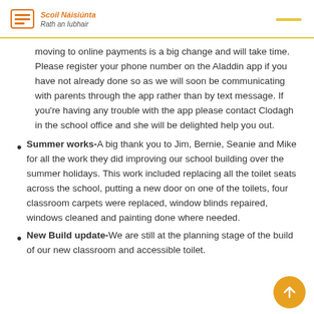Scoil Náisiúnta Rath an Iubhair
moving to online payments is a big change and will take time. Please register your phone number on the Aladdin app if you have not already done so as we will soon be communicating with parents through the app rather than by text message. If you're having any trouble with the app please contact Clodagh in the school office and she will be delighted help you out.
Summer works-A big thank you to Jim, Bernie, Seanie and Mike for all the work they did improving our school building over the summer holidays. This work included replacing all the toilet seats across the school, putting a new door on one of the toilets, four classroom carpets were replaced, window blinds repaired, windows cleaned and painting done where needed.
New Build update-We are still at the planning stage of the build of our new classroom and accessible toilet.